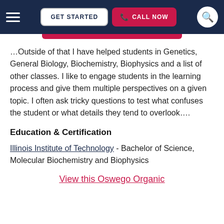GET STARTED | CALL NOW
…Outside of that I have helped students in Genetics, General Biology, Biochemistry, Biophysics and a list of other classes. I like to engage students in the learning process and give them multiple perspectives on a given topic. I often ask tricky questions to test what confuses the student or what details they tend to overlook….
Education & Certification
Illinois Institute of Technology - Bachelor of Science, Molecular Biochemistry and Biophysics
View this Oswego Organic